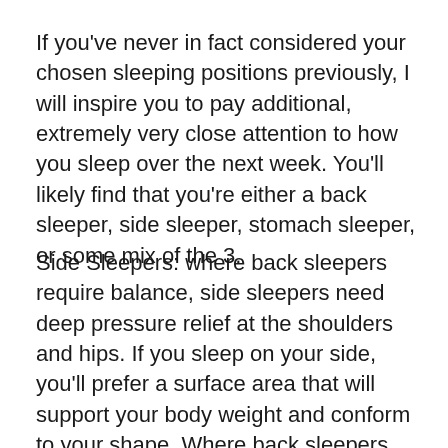If you've never in fact considered your chosen sleeping positions previously, I will inspire you to pay additional, extremely very close attention to how you sleep over the next week. You'll likely find that you're either a back sleeper, side sleeper, stomach sleeper, or some mix of the 3.
Side Sleepers: where back sleepers require balance, side sleepers need deep pressure relief at the shoulders and hips. If you sleep on your side, you'll prefer a surface area that will support your body weight and conform to your shape. Where back sleepers require balance, side sleepers require deep pressure relief at the shoulders and hips. I suggest